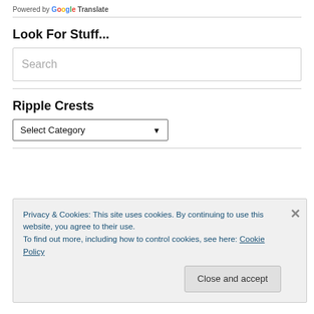Powered by Google Translate
Look For Stuff...
Search
Ripple Crests
Select Category
Privacy & Cookies: This site uses cookies. By continuing to use this website, you agree to their use.
To find out more, including how to control cookies, see here: Cookie Policy
Close and accept